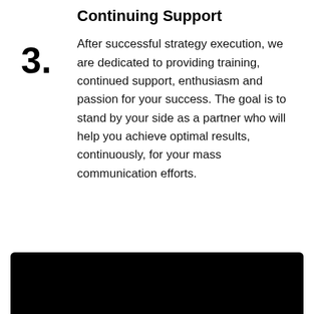Continuing Support
3.
After successful strategy execution, we are dedicated to providing training, continued support, enthusiasm and passion for your success. The goal is to stand by your side as a partner who will help you achieve optimal results, continuously, for your mass communication efforts.
[Figure (photo): Black rectangle at the bottom of the page, likely a cropped image or placeholder.]